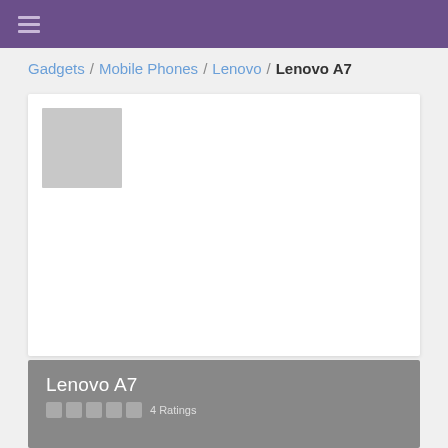Gadgets / Mobile Phones / Lenovo / Lenovo A7
[Figure (photo): Product image placeholder (gray square) for Lenovo A7 on a white card]
Lenovo A7